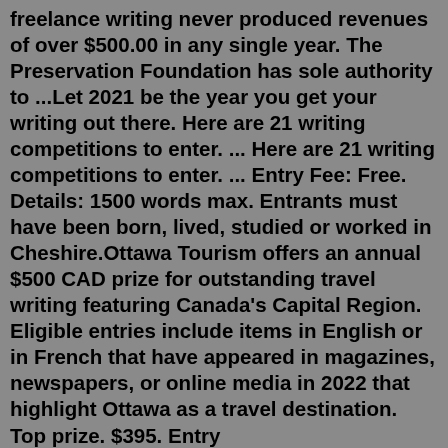freelance writing never produced revenues of over $500.00 in any single year. The Preservation Foundation has sole authority to ...Let 2021 be the year you get your writing out there. Here are 21 writing competitions to enter. ... Here are 21 writing competitions to enter. ... Entry Fee: Free. Details: 1500 words max. Entrants must have been born, lived, studied or worked in Cheshire.Ottawa Tourism offers an annual $500 CAD prize for outstanding travel writing featuring Canada's Capital Region. Eligible entries include items in English or in French that have appeared in magazines, newspapers, or online media in 2022 that highlight Ottawa as a travel destination. Top prize. $395. Entry requirements.CreativeWriting.ie provides an interesting mix of poetry and fiction competitions. Aerogramme Writers' Studio provides an excellent resource for writing competitions across the world. Run by Dublin-based poet Angela T. Carr, this blog provides a monthly updated list of writing competitions for both beginning and professional...